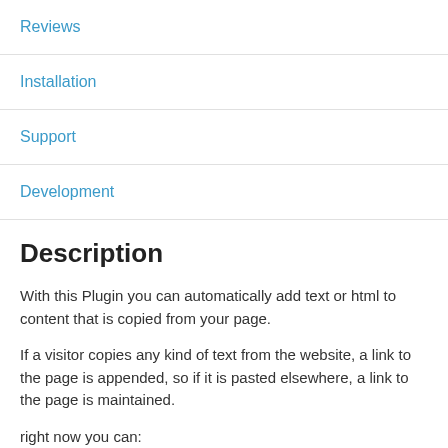Reviews
Installation
Support
Development
Description
With this Plugin you can automatically add text or html to content that is copied from your page.
If a visitor copies any kind of text from the website, a link to the page is appended, so if it is pasted elsewhere, a link to the page is maintained.
right now you can: